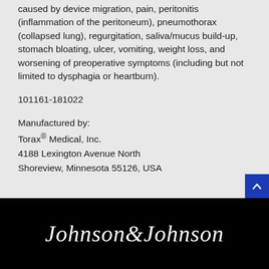caused by device migration, pain, peritonitis (inflammation of the peritoneum), pneumothorax (collapsed lung), regurgitation, saliva/mucus build-up, stomach bloating, ulcer, vomiting, weight loss, and worsening of preoperative symptoms (including but not limited to dysphagia or heartburn).
101161-181022
Manufactured by:
Torax® Medical, Inc.
4188 Lexington Avenue North
Shoreview, Minnesota 55126, USA
[Figure (logo): Johnson & Johnson logo in white script text on black background]